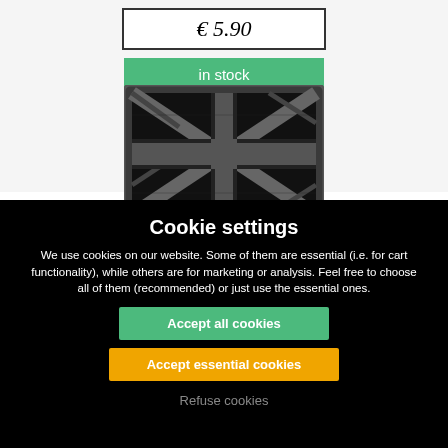€ 5.90
in stock
[Figure (photo): Black and grey Union Jack (UK flag) patch/badge on dark background]
Cookie settings
We use cookies on our website. Some of them are essential (i.e. for cart functionality), while others are for marketing or analysis. Feel free to choose all of them (recommended) or just use the essential ones.
Accept all cookies
Accept essential cookies
Refuse cookies